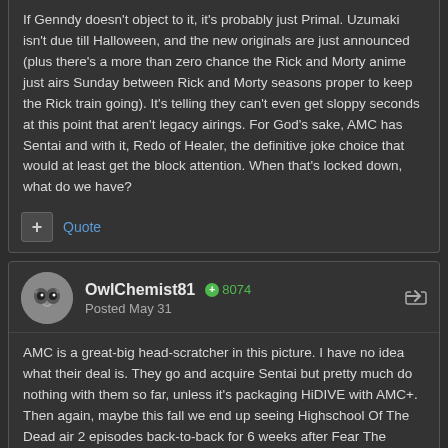If Genndy doesn't object to it, it's probably just Primal.  Uzumaki isn't due till Halloween, and the new originals are just announced (plus there's a more than zero chance the Rick and Morty anime just airs Sunday between Rick and Morty seasons proper to keep the Rick train going).  It's telling they can't even get sloppy seconds at this point that aren't legacy airings.  For God's sake, AMC has Sentai and with it, Redo of Healer, the definitive joke choice that would at least get the block attention.  When that's locked down, what do we have?
Quote
OwlChemist81  8074
Posted May 31
AMC is a great-big head-scratcher in this picture. I have no idea what their deal is. They go and acquire Sentai but pretty much do nothing with them so far, unless it's packaging HiDIVE with AMC+. Then again, maybe this fall we end up seeing Highschool Of The Dead air 2 episodes back-to-back for 6 weeks after Fear The Walking Dead or something. That would at least make sense to me.